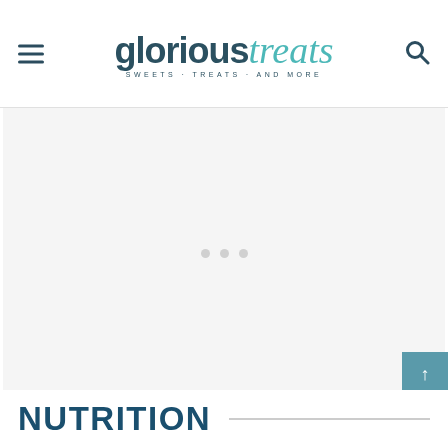glorious treats — SWEETS · TREATS · AND MORE
[Figure (other): Large blank/loading content area with three small gray dots indicating loading state]
NUTRITION